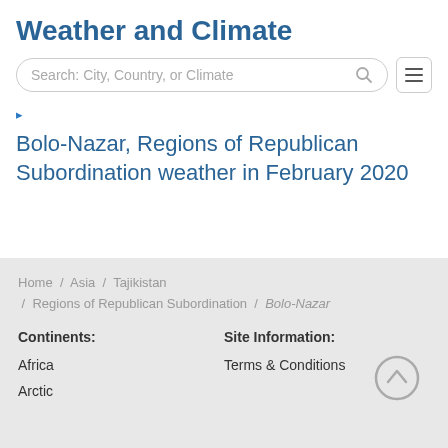Weather and Climate
Search: City, Country, or Climate
Bolo-Nazar, Regions of Republican Subordination weather in February 2020
Home / Asia / Tajikistan / Regions of Republican Subordination / Bolo-Nazar
Continents:
Site Information:
Africa
Terms & Conditions
Arctic